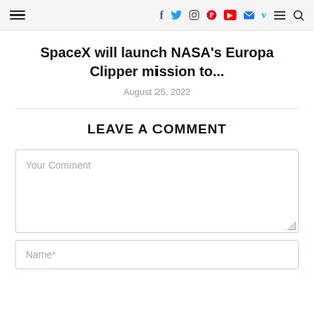≡  f  Twitter  Instagram  Pinterest  YouTube  Mail  V  ≡  🔍
SpaceX will launch NASA's Europa Clipper mission to...
August 25, 2022
LEAVE A COMMENT
Your Comment
Name*